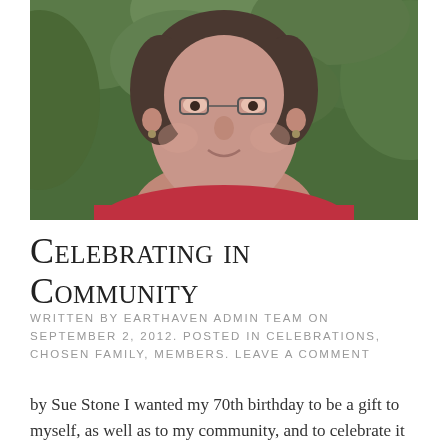[Figure (photo): Portrait photo of an older woman with short dark hair and glasses, wearing a red top, with green foliage in the background]
Celebrating in Community
WRITTEN BY EARTHAVEN ADMIN TEAM ON SEPTEMBER 2, 2012. POSTED IN CELEBRATIONS, CHOSEN FAMILY, MEMBERS. LEAVE A COMMENT
by Sue Stone I wanted my 70th birthday to be a gift to myself, as well as to my community, and to celebrate it